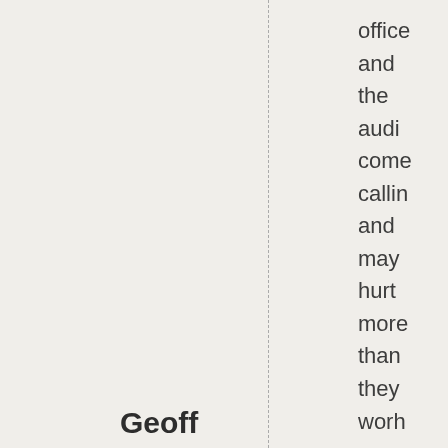office and the audi come callin and may hurt more than they worh
Geoff